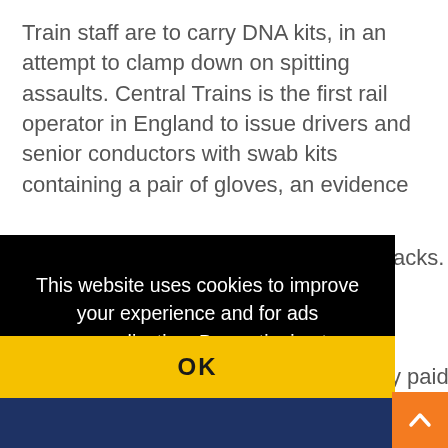Train staff are to carry DNA kits, in an attempt to clamp down on spitting assaults. Central Trains is the first rail operator in England to issue drivers and senior conductors with swab kits containing a pair of gloves, an evidence
acks.
This website uses cookies to improve your experience and for ads personalisation. By continuing to browse this site you are agreeing to our use of these cookies. You can learn more about the cookies we use here.
y paid
OK
REGIS